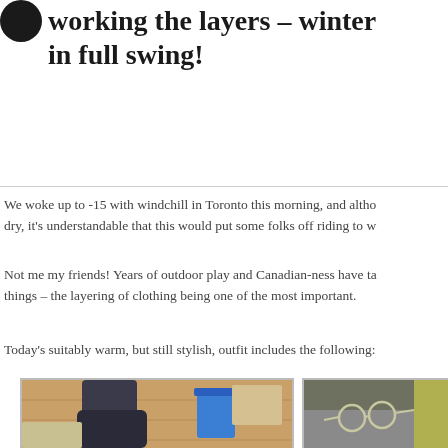working the layers – winter in full swing!
We woke up to -15 with windchill in Toronto this morning, and although it was dry, it's understandable that this would put some folks off riding to w…
Not me my friends! Years of outdoor play and Canadian-ness have taught me things – the layering of clothing being one of the most important.
Today's suitably warm, but still stylish, outfit includes the following:
[Figure (photo): Close-up photo of person's leg wearing grey boots/shoes on a wooden floor with a blue recycling bin in the background]
[Figure (photo): Photo of grey fleece/wool clothing items with round glasses resting on top, with yellow fabric visible]